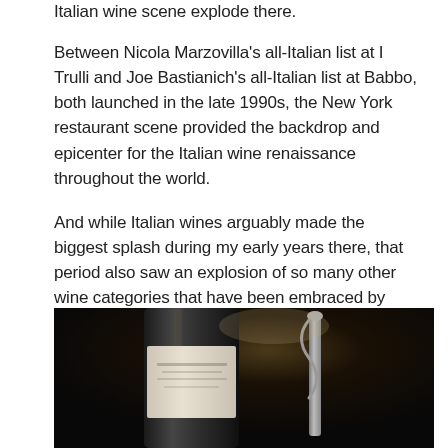Italian wine scene explode there.
Between Nicola Marzovilla's all-Italian list at I Trulli and Joe Bastianich's all-Italian list at Babbo, both launched in the late 1990s, the New York restaurant scene provided the backdrop and epicenter for the Italian wine renaissance throughout the world.
And while Italian wines arguably made the biggest splash during my early years there, that period also saw an explosion of so many other wine categories that have been embraced by wine professionals and wine lovers across the U.S.
[Figure (photo): Dark photograph of a wine bottle with a white label and a corkscrew/wine opener to the right, shot against a very dark background with subtle warm highlights]